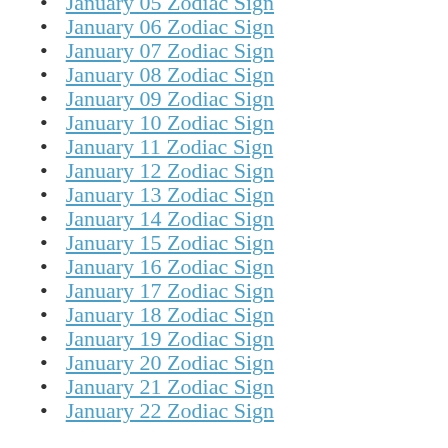January 05 Zodiac Sign
January 06 Zodiac Sign
January 07 Zodiac Sign
January 08 Zodiac Sign
January 09 Zodiac Sign
January 10 Zodiac Sign
January 11 Zodiac Sign
January 12 Zodiac Sign
January 13 Zodiac Sign
January 14 Zodiac Sign
January 15 Zodiac Sign
January 16 Zodiac Sign
January 17 Zodiac Sign
January 18 Zodiac Sign
January 19 Zodiac Sign
January 20 Zodiac Sign
January 21 Zodiac Sign
January 22 Zodiac Sign